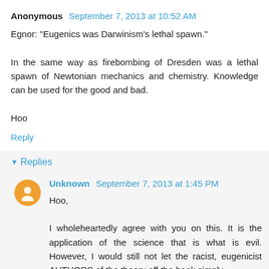Anonymous September 7, 2013 at 10:52 AM
Egnor: "Eugenics was Darwinism's lethal spawn."

In the same way as firebombing of Dresden was a lethal spawn of Newtonian mechanics and chemistry. Knowledge can be used for the good and bad.

Hoo
Reply
Replies
Unknown September 7, 2013 at 1:45 PM
Hoo,

I wholeheartedly agree with you on this. It is the application of the science that is what is evil. However, I would still not let the racist, eugenicist AUTHORS of the theory off the hook simply